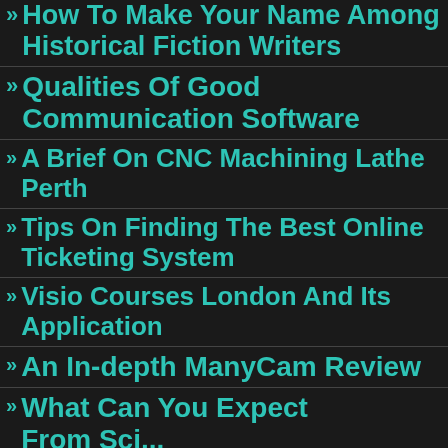How To Make Your Name Among Historical Fiction Writers
Qualities Of Good Communication Software
A Brief On CNC Machining Lathe Perth
Tips On Finding The Best Online Ticketing System
Visio Courses London And Its Application
An In-depth ManyCam Review
What Can You Expect From Collision...